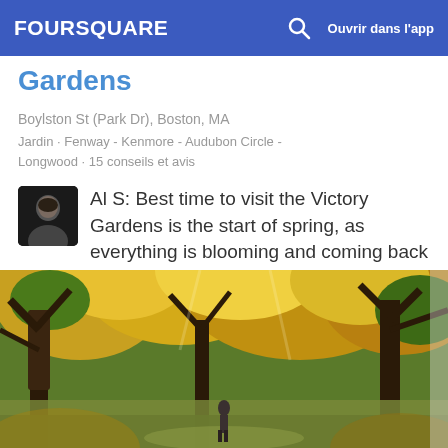FOURSQUARE  Ouvrir dans l'app
Gardens
Boylston St (Park Dr), Boston, MA
Jardin · Fenway - Kenmore - Audubon Circle - Longwood · 15 conseils et avis
Al S: Best time to visit the Victory Gardens is the start of spring, as everything is blooming and coming back to life. It only lasts a couple of weeks, at most, but it's a special time.
[Figure (photo): Autumn park scene with yellow and green trees, sunlight filtering through foliage, person visible in background]